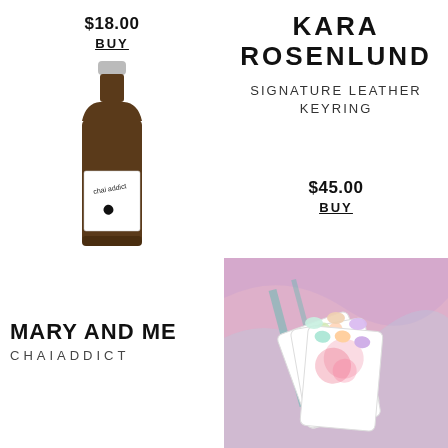$18.00
BUY
[Figure (photo): A dark amber glass bottle with a white label reading 'chai addict' and a black dot logo]
MARY AND ME
CHAIADDICT
KARA ROSENLUND
SIGNATURE LEATHER KEYRING
$45.00
BUY
[Figure (photo): Pink background with white cards fanned out, each card has a small pastel heart candy and floral illustration]